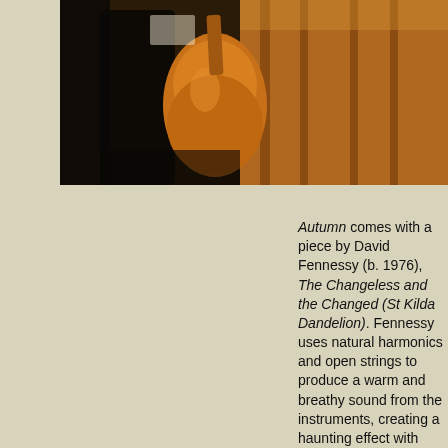[Figure (photo): A musician holding a cello, photographed in a warm-toned interior with wooden furniture visible in the background.]
Autumn comes with a piece by David Fennessy (b. 1976), The Changeless and the Changed (St Kilda Dandelion). Fennessy uses natural harmonics and open strings to produce a warm and breathy sound from the instruments, creating a haunting effect with busy cello harmonics against mysterious sounds on violin; full of